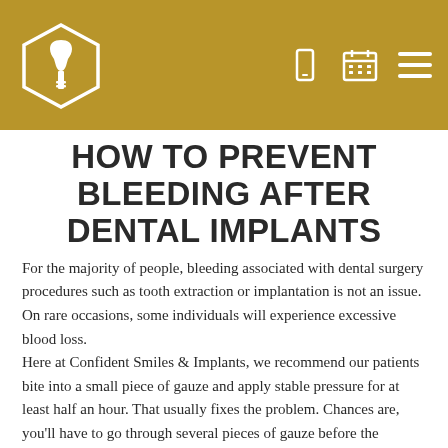[Figure (logo): Dental implant logo in hexagon shape on gold/olive header bar with phone, calendar, and menu icons on the right]
HOW TO PREVENT BLEEDING AFTER DENTAL IMPLANTS
For the majority of people, bleeding associated with dental surgery procedures such as tooth extraction or implantation is not an issue. On rare occasions, some individuals will experience excessive blood loss. Here at Confident Smiles & Implants, we recommend our patients bite into a small piece of gauze and apply stable pressure for at least half an hour. That usually fixes the problem. Chances are, you'll have to go through several pieces of gauze before the bleeding stops.
NEED DENTAL